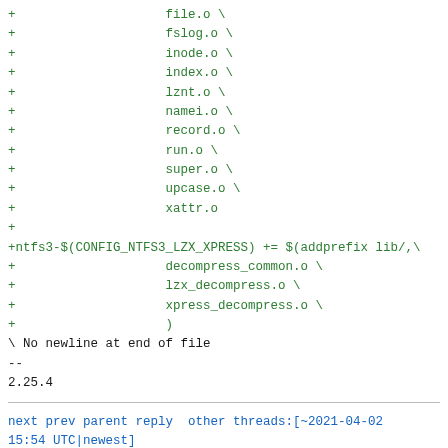+                    file.o \
+                    fslog.o \
+                    inode.o \
+                    index.o \
+                    lznt.o \
+                    namei.o \
+                    record.o \
+                    run.o \
+                    super.o \
+                    upcase.o \
+                    xattr.o
+
+ntfs3-$(CONFIG_NTFS3_LZX_XPRESS) += $(addprefix lib/,\
+                    decompress_common.o \
+                    lzx_decompress.o \
+                    xpress_decompress.o \
+                    )
\ No newline at end of file
--
2.25.4
next prev parent reply  other threads:[~2021-04-02
15:54 UTC|newest]
Thread overview: 18+ messages / expand[flat|nested]
mbox.gz  Atom feed  top
2021-04-02 15:53 [PATCH v26 00/10] NTFS read-write
driver GPL implementation by Paragon Software